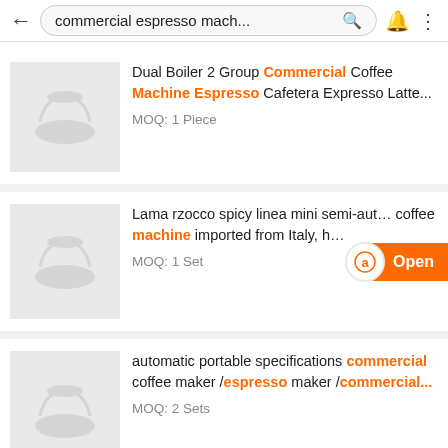commercial espresso mach...
Dual Boiler 2 Group Commercial Coffee Machine Espresso Cafetera Expresso Latte... MOQ: 1 Piece
Lama rzocco spicy linea mini semi-automatic coffee machine imported from Italy, h... MOQ: 1 Set
automatic portable specifications commercial coffee maker /espresso maker /commercial... MOQ: 2 Sets
Commercial Automatic Espresso Coffee...